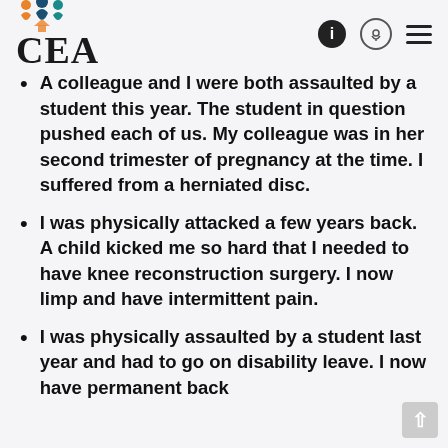CEA
A colleague and I were both assaulted by a student this year. The student in question pushed each of us. My colleague was in her second trimester of pregnancy at the time. I suffered from a herniated disc.
I was physically attacked a few years back. A child kicked me so hard that I needed to have knee reconstruction surgery. I now limp and have intermittent pain.
I was physically assaulted by a student last year and had to go on disability leave. I now have permanent back